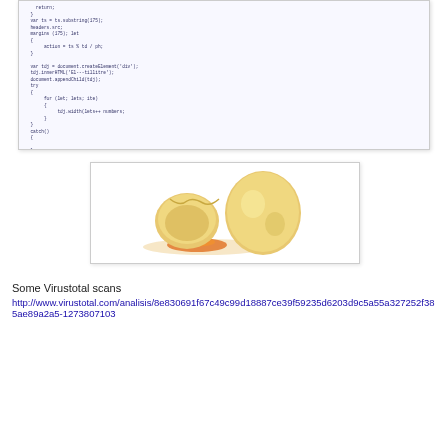[Figure (screenshot): Screenshot of JavaScript source code with syntax highlighting. Contains variable declarations, document methods, for loops, and function definitions. Some lines highlighted in red indicating suspicious code. Code appears to be obfuscated JavaScript with document.createElement, innerHTML assignments, and appendChild calls.]
[Figure (photo): Photograph of two eggs, one cracked open showing orange/yellow yolk spilling out, on a white background.]
Some Virustotal scans
http://www.virustotal.com/analisis/8e830691f67c49c99d18887ce39f59235d6203d9c5a55a327252f385ae89a2a5-1273807103